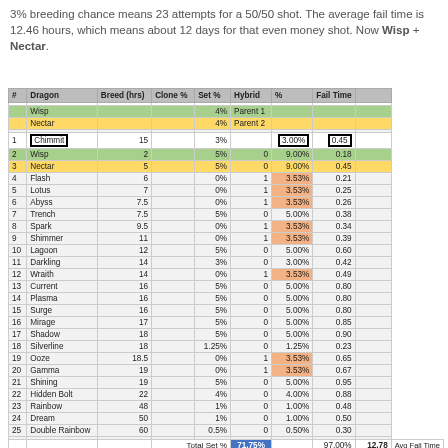3% breeding chance means 23 attempts for a 50/50 shot. The average fail time is 12.46 hours, which means about 12 days for that even money shot. Now Wisp + Nectar.
| # | Dragon | Breed (hrs) | Clone % | Set % | Hybrid | % | Fail Time |  |
| --- | --- | --- | --- | --- | --- | --- | --- | --- |
|  |  |  |  |  |  |  |  |  |
|  | Wisp |  |  | 4% | Parent 1 |  |  |  |
|  | Nectar |  |  | 4% | Parent 2 |  |  |  |
|  |  |  |  |  |  |  |  |  |
| 1 | Chimmit | 15 |  | 3% |  | 3.00% | 0.45 |  |
| 2 | Wisp | 2 |  | 5% | 0 | 9.00% | 0.18 |  |
| 3 | Nectar | 5 |  | 5% | 0 | 9.00% | 0.45 |  |
| 4 | Flash | 6 |  | 0% | 1 | 3.53% | 0.21 |  |
| 5 | Lotus | 7 |  | 0% | 1 | 3.53% | 0.25 |  |
| 6 | Abyss | 7.5 |  | 0% | 1 | 3.53% | 0.26 |  |
| 7 | Trench | 7.5 |  | 5% | 0 | 5.00% | 0.38 |  |
| 8 | Spark | 9.5 |  | 0% | 1 | 3.53% | 0.34 |  |
| 9 | Shimmer | 11 |  | 0% | 1 | 3.53% | 0.39 |  |
| 10 | Lagoon | 12 |  | 5% | 0 | 5.00% | 0.60 |  |
| 11 | Darkling | 14 |  | 3% | 0 | 3.00% | 0.42 |  |
| 12 | Wraith | 14 |  | 0% | 1 | 3.53% | 0.49 |  |
| 13 | Current | 16 |  | 5% | 0 | 5.00% | 0.80 |  |
| 14 | Plasma | 16 |  | 5% | 0 | 5.00% | 0.80 |  |
| 15 | Surge | 16 |  | 5% | 0 | 5.00% | 0.80 |  |
| 16 | Mirage | 17 |  | 5% | 0 | 5.00% | 0.85 |  |
| 17 | Shadow | 18 |  | 5% | 0 | 5.00% | 0.90 |  |
| 18 | Silverline | 18 |  | 1.25% | 0 | 1.25% | 0.23 |  |
| 19 | Ooze | 18.5 |  | 0% | 1 | 3.53% | 0.65 |  |
| 20 | Gamma | 19 |  | 0% | 1 | 3.53% | 0.67 |  |
| 21 | Shining | 19 |  | 5% | 0 | 5.00% | 0.95 |  |
| 22 | Hidden Bolt | 22 |  | 4% | 0 | 4.00% | 0.88 |  |
| 23 | Rainbow | 48 |  | 1% | 0 | 1.00% | 0.48 |  |
| 24 | Dream | 50 |  | 1% | 0 | 1.00% | 0.50 |  |
| 25 | Double Rainbow | 60 |  | 0.5% | 0 | 0.50% | 0.30 |  |
|  |  |  |  |  |  |  |  |  |
|  |  |  | Total Set % |  | 71.75% |  | 97.00% | 12.78 | Avg Fail Time |
|  |  |  | 100% - Total Set % |  | 28.25% |  |  |  |  |